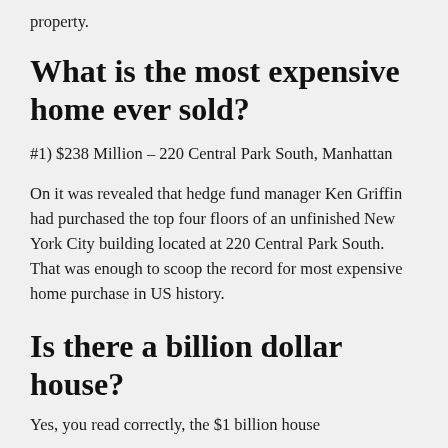property.
What is the most expensive home ever sold?
#1) $238 Million – 220 Central Park South, Manhattan
On it was revealed that hedge fund manager Ken Griffin had purchased the top four floors of an unfinished New York City building located at 220 Central Park South. That was enough to scoop the record for most expensive home purchase in US history.
Is there a billion dollar house?
Yes, you read correctly, the $1 billion house